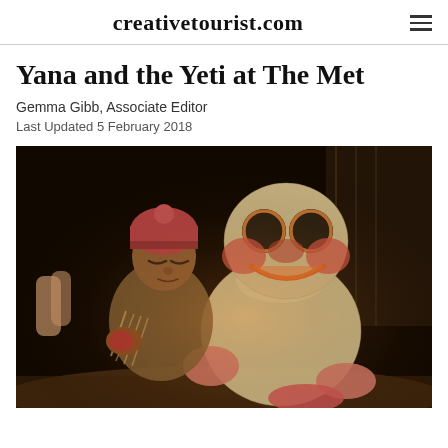creativetourist.com
Yana and the Yeti at The Met
Gemma Gibb, Associate Editor
Last Updated 5 February 2018
[Figure (photo): Two puppets on a dark stage — a small girl puppet wearing a pink/red knitted hat and woolly wrap, and a large Yeti puppet with big round eyes, pink rosy cheeks, an orange-lined mouth, and fluffy beige/grey body. The scene is dramatically lit against a near-black background.]